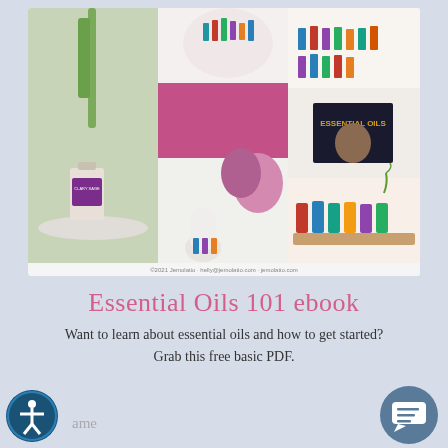[Figure (photo): A collage of essential oils product photos: a Clary Sage bottle, a white diffuser with pink flowers, multiple essential oil bottles arranged in rows, a book titled 'Essential Oils', and a flat lay of various essential oil bottles on a white background. Small footer text reads: ©2021 Jemolatio · helly@jemolatio.com · jemolatio.com]
Essential Oils 101 ebook
Want to learn about essential oils and how to get started? Grab this free basic PDF.